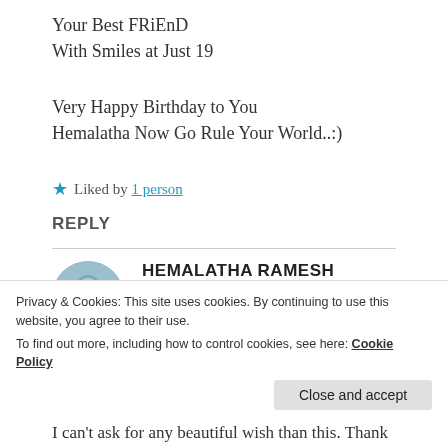Your Best FRiEnD
With Smiles at Just 19
Very Happy Birthday to You Hemalatha Now Go Rule Your World..:)
★ Liked by 1 person
REPLY
HEMALATHA RAMESH
October 4, 2021 at 6:56
Privacy & Cookies: This site uses cookies. By continuing to use this website, you agree to their use.
To find out more, including how to control cookies, see here: Cookie Policy
Close and accept
I can't ask for any beautiful wish than this. Thank